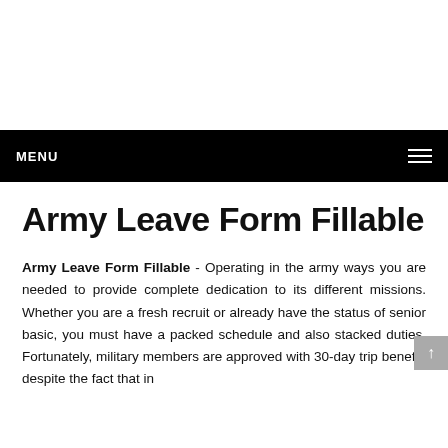MENU
Army Leave Form Fillable
Army Leave Form Fillable - Operating in the army ways you are needed to provide complete dedication to its different missions. Whether you are a fresh recruit or already have the status of senior basic, you must have a packed schedule and also stacked duties. Fortunately, military members are approved with 30-day trip benefit, despite the fact that in